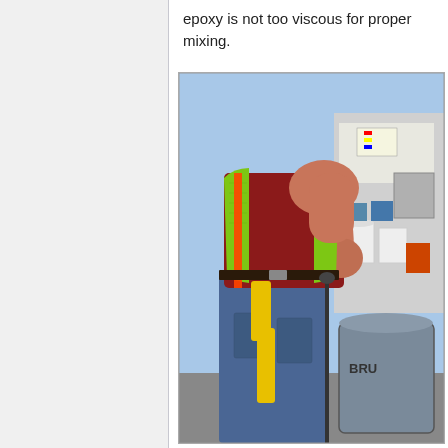epoxy is not too viscous for proper mixing.
[Figure (photo): A construction worker wearing a green high-visibility safety vest with orange stripes and a red shirt, standing near a gray trash can labeled 'BRUTE' and white buckets. The worker is holding a mixing tool/hose and has yellow gloves tucked in belt. A work truck with equipment is visible in the background.]